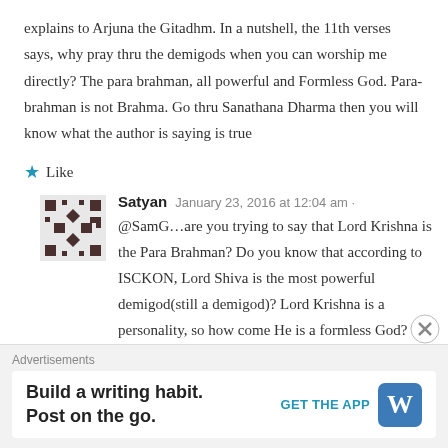explains to Arjuna the Gitadhm. In a nutshell, the 11th verses says, why pray thru the demigods when you can worship me directly? The para brahman, all powerful and Formless God. Para-brahman is not Brahma. Go thru Sanathana Dharma then you will know what the author is saying is true
★ Like
Satyan  January 23, 2016 at 12:04 am
@SamG…are you trying to say that Lord Krishna is the Para Brahman? Do you know that according to ISCKON, Lord Shiva is the most powerful demigod(still a demigod)? Lord Krishna is a personality, so how come He is a formless God? Define demigod and if it means anything below
Advertisements
Build a writing habit. Post on the go.  GET THE APP